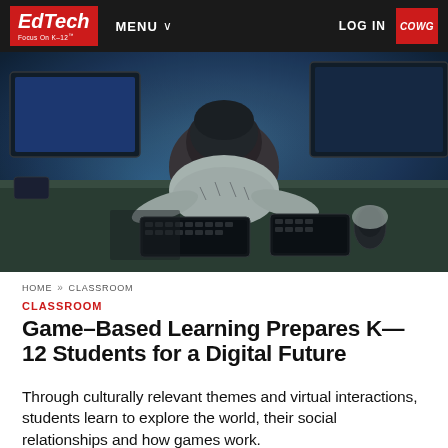EdTech Focus On K-12 | MENU | LOG IN | COWG
[Figure (photo): Overhead view of a young student sitting at a desk with dual monitors, typing on a keyboard with a mouse in hand, in a dark blue-lit gaming/computer setup room.]
HOME >> CLASSROOM
CLASSROOM
Game–Based Learning Prepares K—12 Students for a Digital Future
Through culturally relevant themes and virtual interactions, students learn to explore the world, their social relationships and how games work.